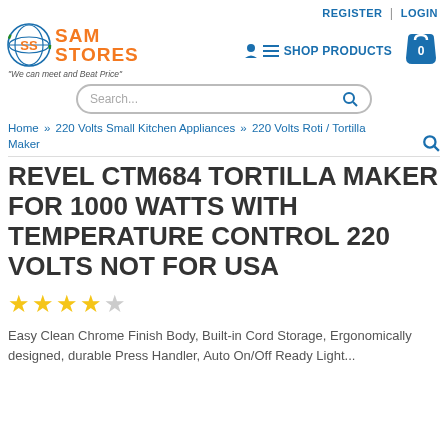REGISTER | LOGIN
[Figure (logo): SamStores logo with orange text and globe icon. Tagline: 'We can meet and Beat Price']
[Figure (screenshot): Navigation: person icon, hamburger menu, SHOP PRODUCTS text, shopping cart with 0]
[Figure (screenshot): Search bar with placeholder 'Search...' and magnifier icon]
Home » 220 Volts Small Kitchen Appliances » 220 Volts Roti / Tortilla Maker
REVEL CTM684 TORTILLA MAKER FOR 1000 WATTS WITH TEMPERATURE CONTROL 220 VOLTS NOT FOR USA
[Figure (other): Star rating: 4 filled stars and 1 empty star]
Easy Clean Chrome Finish Body, Built-in Cord Storage, Ergonomically designed, durable Press Handler, Auto On/Off Ready Light...